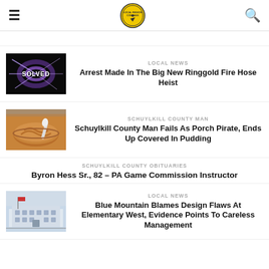Local Region Compass
(partial headline cut off at top)
[Figure (photo): Dark background image with 'SOLVED' text and purple light burst effect]
LOCAL NEWS
Arrest Made In The Big New Ringgold Fire Hose Heist
[Figure (photo): Bowl of brown pudding with a spoon]
SCHUYLKILL COUNTY MAN
Schuylkill County Man Fails As Porch Pirate, Ends Up Covered In Pudding
SCHUYLKILL COUNTY OBITUARIES
Byron Hess Sr., 82 – PA Game Commission Instructor
[Figure (photo): Exterior photo of a school building, Elementary West]
LOCAL NEWS
Blue Mountain Blames Design Flaws At Elementary West, Evidence Points To Careless Management